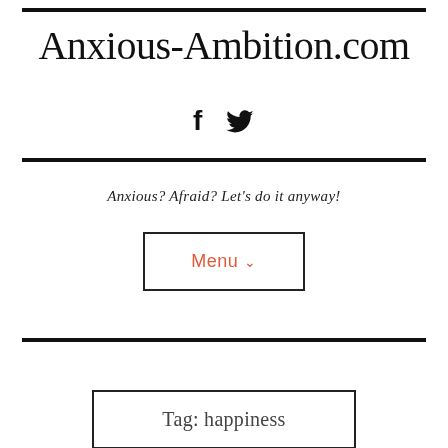Anxious-Ambition.com
[Figure (other): Social media icons: Facebook (f) and Twitter (bird) icons]
Anxious? Afraid? Let's do it anyway!
Menu ∨
Tag: happiness